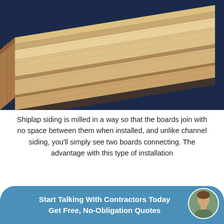[Figure (photo): Close-up photo of shiplap wood siding boards showing the stepped/rabbeted profile edge, light tan wood color against a dark navy blue background]
Shiplap siding is milled in a way so that the boards join with no space between them when installed, and unlike channel siding, you'll simply see two boards connecting. The advantage with this type of installation
Nickel Gap Siding
Nickel gap... between the two boards is significantly smaller in this case because
Start Talking With Contractors Today
Get Free, No-Obligation Quotes